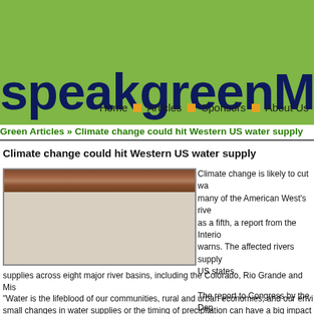speakgreenMSN
Home  Articles  Sponsors  About Us  Links
Green Articles » Climate change could hit Western US water supply
Climate change could hit Western US water supply
[Figure (photo): Photograph of rocky/canyon terrain, brown and reddish rocks]
Climate change is likely to cut water flows in many of the American West's rivers by as much as a fifth, a report from the Interior Department warns. The affected rivers supply water to 11 US states.
The report to Congress by the Department's Bureau of Reclamation examines future water supplies across eight major river basins, including the Colorado, Rio Grande and Mis
"Water is the lifeblood of our communities, rural and urban economies, and our envi small changes in water supplies or the timing of precipitation can have a big impact o